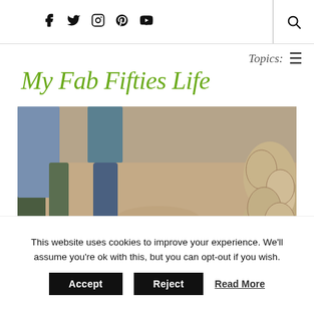Social icons: Facebook, Twitter, Instagram, Pinterest, YouTube | Search
Topics: ☰
My Fab Fifties Life
[Figure (photo): People standing in a dirt-floor space next to a pile of rounded stones/boulders. One person wears sandals, another wears dark sneakers. The scene appears to be at an archaeological or rural site.]
This website uses cookies to improve your experience. We'll assume you're ok with this, but you can opt-out if you wish.
Accept   Reject   Read More